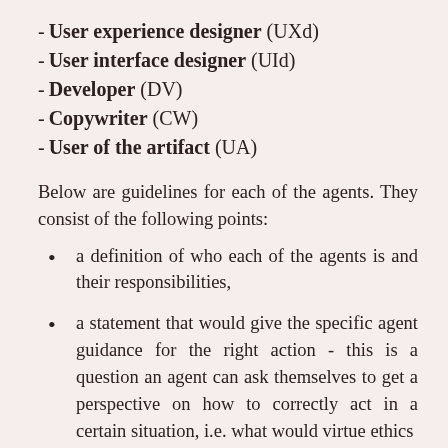- User experience designer (UXd)
- User interface designer (UId)
- Developer (DV)
- Copywriter (CW)
- User of the artifact (UA)
Below are guidelines for each of the agents. They consist of the following points:
a definition of who each of the agents is and their responsibilities,
a statement that would give the specific agent guidance for the right action - this is a question an agent can ask themselves to get a perspective on how to correctly act in a certain situation, i.e. what would virtue ethics